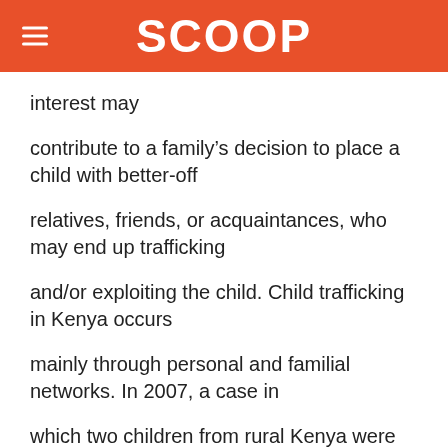SCOOP
interest may
contribute to a family's decision to place a child with better-off
relatives, friends, or acquaintances, who may end up trafficking
and/or exploiting the child. Child trafficking in Kenya occurs
mainly through personal and familial networks. In 2007, a case in
which two children from rural Kenya were trafficked to Tanzania to
work on a farm but were subsequently rescued highlighted the flow of
child trafficking between Kenya and Tanzania…